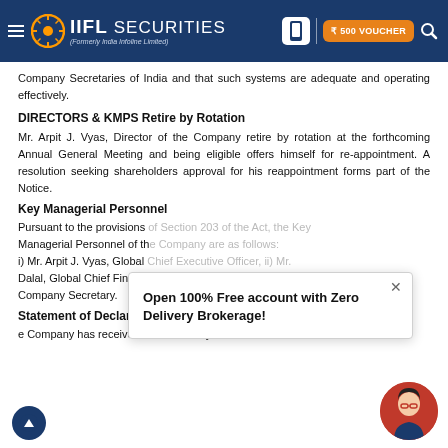IIFL Securities (Formerly India Infoline Limited)
Company Secretaries of India and that such systems are adequate and operating effectively.
DIRECTORS & KMPS Retire by Rotation
Mr. Arpit J. Vyas, Director of the Company retire by rotation at the forthcoming Annual General Meeting and being eligible offers himself for re-appointment. A resolution seeking shareholders approval for his reappointment forms part of the Notice.
Key Managerial Personnel
Pursuant to the provisions of Section 203 of the Act, the Key Managerial Personnel of the Company are as follows: i) Mr. Arpit J. Vyas, Global Chief Executive Officer, ii) Mr. Dalal, Global Chief Financial Officer and iii) Ms. Shalini Dalal, Company Secretary.
Statement of Declaration by Independent Directors
e Company has received the necessary declaration from each